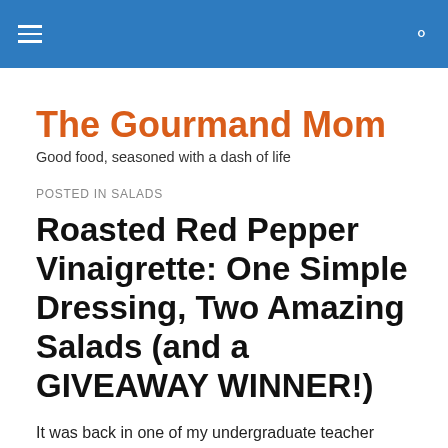The Gourmand Mom
Good food, seasoned with a dash of life
POSTED IN SALADS
Roasted Red Pepper Vinaigrette: One Simple Dressing, Two Amazing Salads (and a GIVEAWAY WINNER!)
It was back in one of my undergraduate teacher education classes, that I was first introduced to the debate over